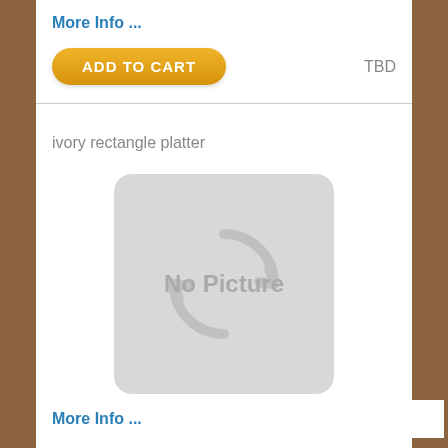More Info ...
ADD TO CART    TBD
ivory rectangle platter
[Figure (illustration): No Picture placeholder image — rounded rectangle grey box with circular refresh/sync icon and text 'No Picture']
More Info ...